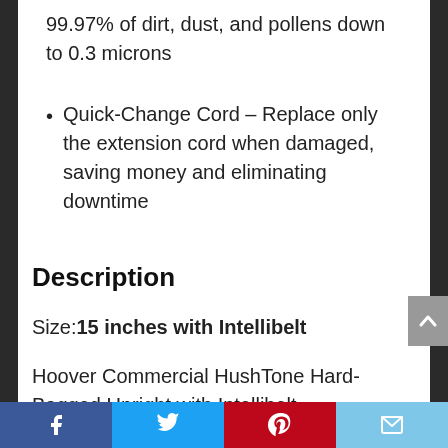99.97% of dirt, dust, and pollens down to 0.3 microns
Quick-Change Cord – Replace only the extension cord when damaged, saving money and eliminating downtime
Description
Size: 15 inches with Intellibelt
Hoover Commercial HushTone Hard-Bagged Upright with Intellibelt
Facebook | Twitter | Pinterest | Email